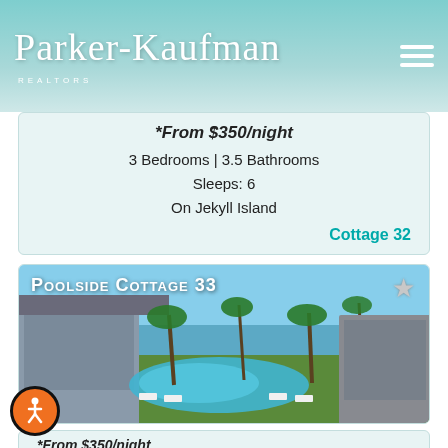Parker-Kaufman Realtors
*From $350/night
3 Bedrooms | 3.5 Bathrooms
Sleeps: 6
On Jekyll Island
Cottage 32
[Figure (photo): Aerial photo of Poolside Cottage 33 showing a resort-style pool area with palm trees and ocean view, labeled Poolside Cottage 33 with a star icon]
*From $350/night
3 Bedrooms | 3.5 Bathrooms